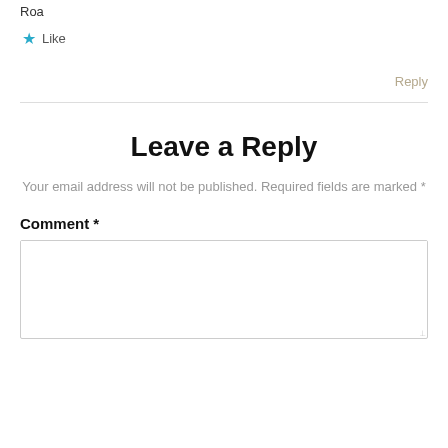Roa
★ Like
Reply
Leave a Reply
Your email address will not be published. Required fields are marked *
Comment *